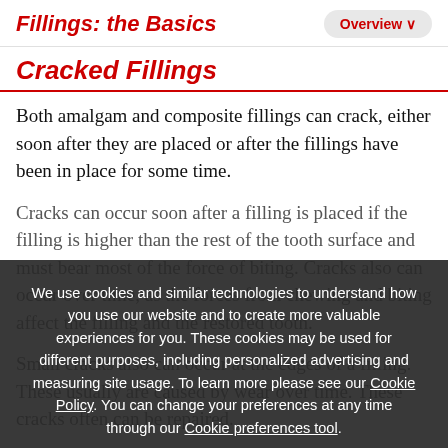Fillings: the Basics | Overview
Cracked Fillings
Both amalgam and composite fillings can crack, either soon after they are placed or after the fillings have been in place for some time.
Cracks can occur soon after a filling is placed if the filling is higher than the rest of the tooth surface and must bear most of the force of biting. Cracks also can occur over time, as the forces from chewing and biting affect the filling and the restored tooth.
Small cracks also can occur at the edges of a filling. These usually are caused by wear over time. These cracks often can be repaired.
We use cookies and similar technologies to understand how you use our website and to create more valuable experiences for you. These cookies may be used for different purposes, including personalized advertising and measuring site usage. To learn more please see our Cookie Policy. You can change your preferences at any time through our Cookie preferences tool.